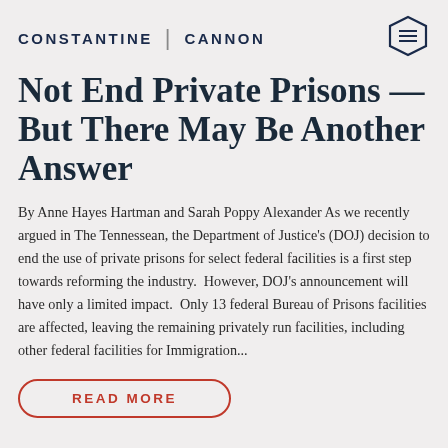CONSTANTINE | CANNON
Not End Private Prisons — But There May Be Another Answer
By Anne Hayes Hartman and Sarah Poppy Alexander As we recently argued in The Tennessean, the Department of Justice's (DOJ) decision to end the use of private prisons for select federal facilities is a first step towards reforming the industry.  However, DOJ's announcement will have only a limited impact.  Only 13 federal Bureau of Prisons facilities are affected, leaving the remaining privately run facilities, including other federal facilities for Immigration...
READ MORE